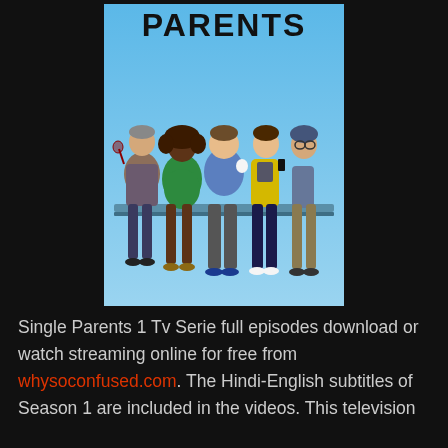[Figure (photo): TV show poster for 'Single Parents' featuring five adults sitting on a bench against a light blue sky background, with the word PARENTS in large black letters at the top.]
Single Parents 1 Tv Serie full episodes download or watch streaming online for free from whysoconfused.com. The Hindi-English subtitles of Season 1 are included in the videos. This television